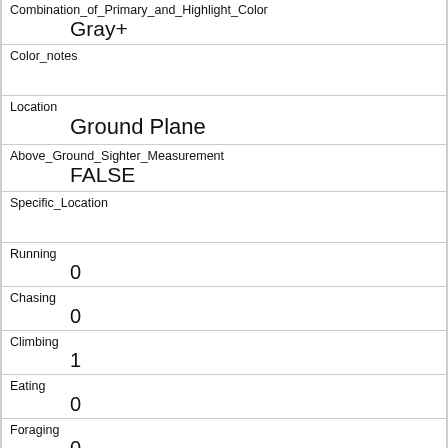| Combination_of_Primary_and_Highlight_Color | Gray+ |
| Color_notes |  |
| Location | Ground Plane |
| Above_Ground_Sighter_Measurement | FALSE |
| Specific_Location |  |
| Running | 0 |
| Chasing | 0 |
| Climbing | 1 |
| Eating | 0 |
| Foraging | 0 |
| Other_Activities |  |